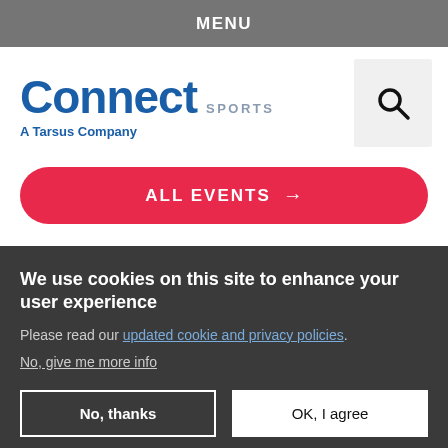MENU
[Figure (logo): Connect Sports - A Tarsus Company logo with search icon]
ALL EVENTS →
We use cookies on this site to enhance your user experience
Please read our updated cookie and privacy policies.
No, give me more info
No, thanks
OK, I agree